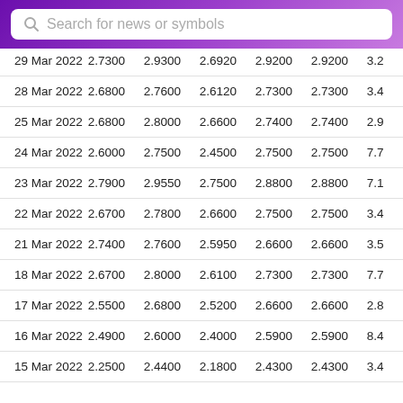Search for news or symbols
| Date | Open | High | Low | Close | Adj Close | Volume |
| --- | --- | --- | --- | --- | --- | --- |
| 29 Mar 2022 | 2.7300 | 2.9300 | 2.6920 | 2.9200 | 2.9200 | 3.2... |
| 28 Mar 2022 | 2.6800 | 2.7600 | 2.6120 | 2.7300 | 2.7300 | 3.4... |
| 25 Mar 2022 | 2.6800 | 2.8000 | 2.6600 | 2.7400 | 2.7400 | 2.9... |
| 24 Mar 2022 | 2.6000 | 2.7500 | 2.4500 | 2.7500 | 2.7500 | 7.7... |
| 23 Mar 2022 | 2.7900 | 2.9550 | 2.7500 | 2.8800 | 2.8800 | 7.1... |
| 22 Mar 2022 | 2.6700 | 2.7800 | 2.6600 | 2.7500 | 2.7500 | 3.4... |
| 21 Mar 2022 | 2.7400 | 2.7600 | 2.5950 | 2.6600 | 2.6600 | 3.5... |
| 18 Mar 2022 | 2.6700 | 2.8000 | 2.6100 | 2.7300 | 2.7300 | 7.7... |
| 17 Mar 2022 | 2.5500 | 2.6800 | 2.5200 | 2.6600 | 2.6600 | 2.8... |
| 16 Mar 2022 | 2.4900 | 2.6000 | 2.4000 | 2.5900 | 2.5900 | 8.4... |
| 15 Mar 2022 | 2.2500 | 2.4400 | 2.1800 | 2.4300 | 2.4300 | 3.4... |